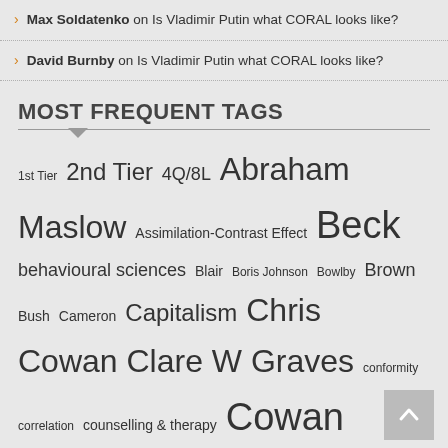Max Soldatenko on Is Vladimir Putin what CORAL looks like?
David Burnby on Is Vladimir Putin what CORAL looks like?
MOST FREQUENT TAGS
1st Tier  2nd Tier  4Q/8L  Abraham Maslow  Assimilation-Contrast Effect  Beck  behavioural sciences  Blair  Boris Johnson  Bowlby  Brown  Bush  Cameron  Capitalism  Chris Cowan  Clare W Graves  conformity  correlation  counselling & therapy  Cowan  culture  David